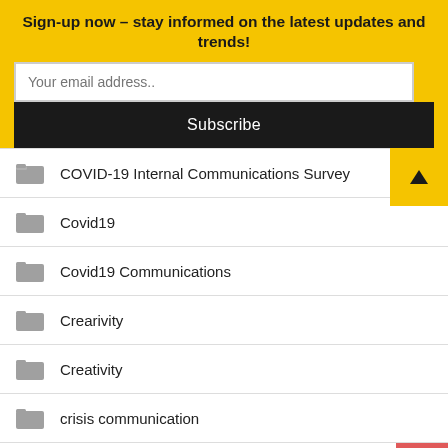Sign-up now – stay informed on the latest updates and trends!
Your email address..
Subscribe
COVID-19 Internal Communications Survey
Covid19
Covid19 Communications
Crearivity
Creativity
crisis communication
Crisis communications